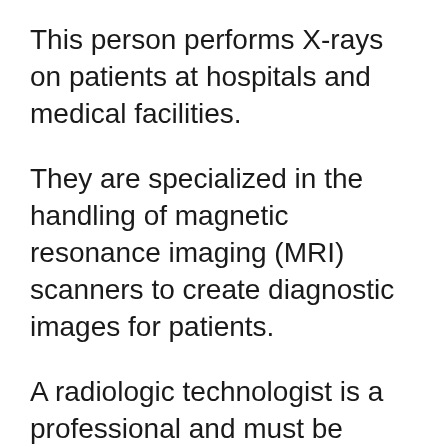This person performs X-rays on patients at hospitals and medical facilities.
They are specialized in the handling of magnetic resonance imaging (MRI) scanners to create diagnostic images for patients.
A radiologic technologist is a professional and must be qualified. In most places, the entry-level educational qualification is an Associate degree.
The average hourly earnings of these